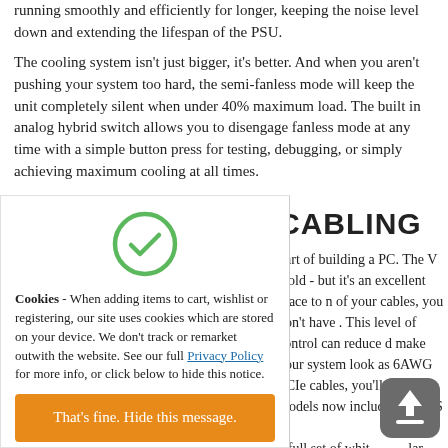running smoothly and efficiently for longer, keeping the noise level down and extending the lifespan of the PSU.
The cooling system isn't just bigger, it's better. And when you aren't pushing your system too hard, the semi-fanless mode will keep the unit completely silent when under 40% maximum load. The built in analog hybrid switch allows you to disengage fanless mode at any time with a simple button press for testing, debugging, or simply achieving maximum cooling at all times.
[Figure (illustration): Green circle with a checkmark (tick) icon inside, indicating acceptance or confirmation.]
Cookies - When adding items to cart, wishlist or registering, our site uses cookies which are stored on your device. We don't track or remarket outwith the website. See our full Privacy Policy for more info, or click below to hide this notice.
That's fine. Hide this message.
CABLING
part of building a PC. The V Gold - but it's an excellent place to n of your cables, you don't have . This level of control can reduce d make your system look as 6AWG PCIe cables, you'll get l models now include two EPS
a full set of whit [upload icon] lar
[Figure (illustration): Dark grey rounded square icon with an upward arrow and a horizontal line beneath, resembling an upload or share button.]